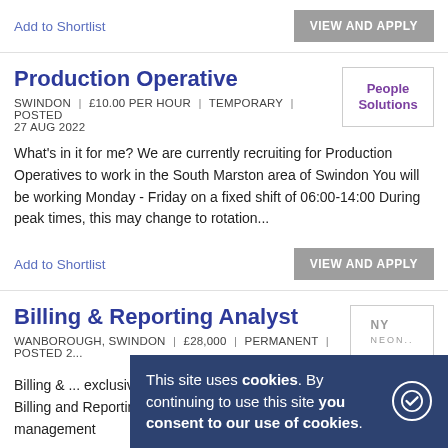Add to Shortlist
VIEW AND APPLY
Production Operative
SWINDON | £10.00 PER HOUR | TEMPORARY | POSTED 27 AUG 2022
[Figure (logo): People Solutions company logo]
What's in it for me? We are currently recruiting for Production Operatives to work in the South Marston area of Swindon You will be working Monday - Friday on a fixed shift of 06:00-14:00 During peak times, this may change to rotation...
Add to Shortlist
VIEW AND APPLY
Billing & Reporting Analyst
WANBOROUGH, SWINDON | £28,000 | PERMANENT | POSTED 2...
[Figure (logo): NY company logo]
Billing & ... exclusively ... in partnership with my client to recruit a Billing and Reporting Specialist. The company is an event management
This site uses cookies. By continuing to use this site you consent to our use of cookies.